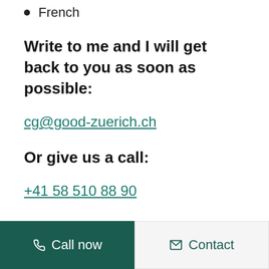French
Write to me and I will get back to you as soon as possible:
cg@good-zuerich.ch
Or give us a call:
+41 58 510 88 90
Call now   Contact